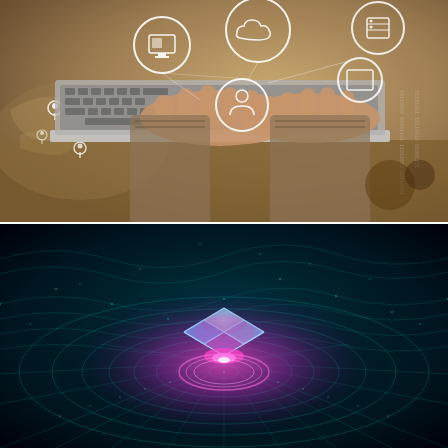[Figure (photo): Person typing on a laptop in a cafe-like setting. Digital overlay icons float above the keyboard: icons in white circles showing a computer monitor, a cloud, a server/USB device, a person/user, a rectangle/tablet. Location pin icons and a faint world map are visible on the left side of the image. The background shows a warm-toned blurred environment.]
[Figure (photo): Abstract dark digital concept image showing a glowing translucent blue-purple cube floating above a concentric ripple pattern on a dark teal grid-like surface. The cube emits a bright pink-purple light at its base. The surrounding area shows a wave-like undulating dark teal mesh/grid pattern with glowing nodes.]